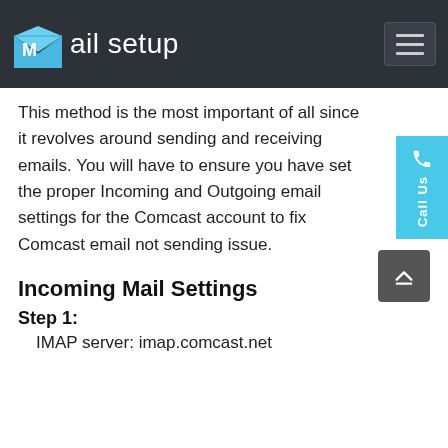Mail setup
This method is the most important of all since it revolves around sending and receiving emails. You will have to ensure you have set the proper Incoming and Outgoing email settings for the Comcast account to fix Comcast email not sending issue.
Incoming Mail Settings
Step 1:
IMAP server: imap.comcast.net